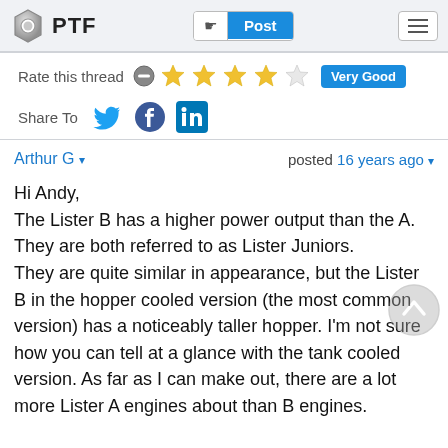PTF  Post
Rate this thread  ★★★★☆  Very Good
Share To  [Twitter] [Facebook] [LinkedIn]
Arthur G ▾   posted 16 years ago ▾
Hi Andy,
The Lister B has a higher power output than the A. They are both referred to as Lister Juniors. They are quite similar in appearance, but the Lister B in the hopper cooled version (the most common version) has a noticeably taller hopper. I'm not sure how you can tell at a glance with the tank cooled version. As far as I can make out, there are a lot more Lister A engines about than B engines.